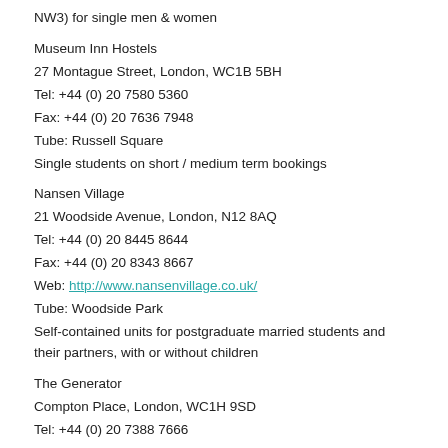NW3) for single men & women
Museum Inn Hostels
27 Montague Street, London, WC1B 5BH
Tel: +44 (0) 20 7580 5360
Fax: +44 (0) 20 7636 7948
Tube: Russell Square
Single students on short / medium term bookings
Nansen Village
21 Woodside Avenue, London, N12 8AQ
Tel: +44 (0) 20 8445 8644
Fax: +44 (0) 20 8343 8667
Web: http://www.nansenvillage.co.uk/
Tube: Woodside Park
Self-contained units for postgraduate married students and their partners, with or without children
The Generator
Compton Place, London, WC1H 9SD
Tel: +44 (0) 20 7388 7666
Fax: +44 (0) 20 7388 7644
Web: www.generatorhostels.com